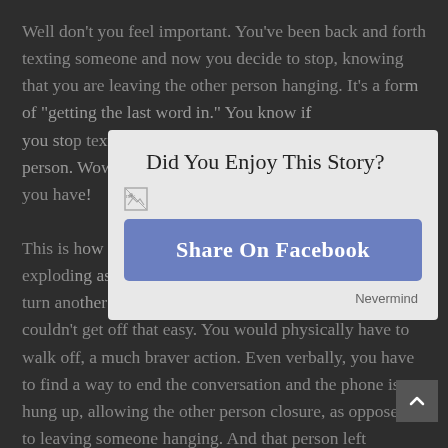Well don't you feel important. You've been back and forth texting someone and now you decide to stop, knowing that you are leaving the other person hanging. It's a form of "getting the last word in." You know if you stop texting, you've essentially "turned off" that person. Wow, what power you have!
[Figure (screenshot): A modal popup overlay on the article page reading 'Did You Enjoy This Story?' with a broken image icon, a blue 'Share On Facebook' button, and a 'Nevermind' dismiss link.]
This is how big our egos have gotten, to the point of exploding as we suddenly feel we have the power to turn another individual off. In the physical world you couldn't get off that easy. You would physically have to walk off, a much braver action. Even verbally, you have to find a way to end the conversation and the phone is hung up, allowing the other person closure, as opposed to leaving someone hanging. And that person left hanging through unanswered texts, goes through all kinds of emotions – abandonment, shame,